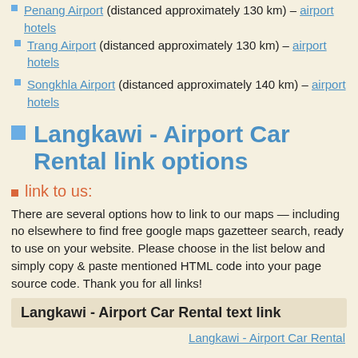Penang Airport (distanced approximately 130 km) – airport hotels
Trang Airport (distanced approximately 130 km) – airport hotels
Songkhla Airport (distanced approximately 140 km) – airport hotels
Langkawi - Airport Car Rental link options
link to us:
There are several options how to link to our maps — including no elsewhere to find free google maps gazetteer search, ready to use on your website. Please choose in the list below and simply copy & paste mentioned HTML code into your page source code. Thank you for all links!
Langkawi - Airport Car Rental text link
Langkawi - Airport Car Rental